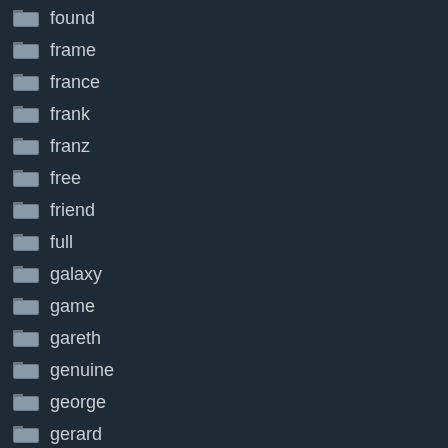found
frame
france
frank
franz
free
friend
full
galaxy
game
gareth
genuine
george
gerard
germany
gets
getting
gianluigi